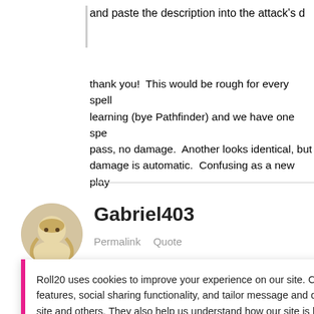and paste the description into the attack's d
thank you!  This would be rough for every spell learning (bye Pathfinder) and we have one spe pass, no damage.  Another looks identical, but damage is automatic.  Confusing as a new play
Gabriel403
Permalink   Quote
I don't know if this a compendium bug or a chee
Roll20 uses cookies to improve your experience on our site. Cookies enable you to enjoy certain features, social sharing functionality, and tailor message and display ads to your interests on our site and others. They also help us understand how our site is being used. By continuing to use our site, you consent to our use of cookies. Update your cookie preferences here.
Gabriel403
Permalink   Quote